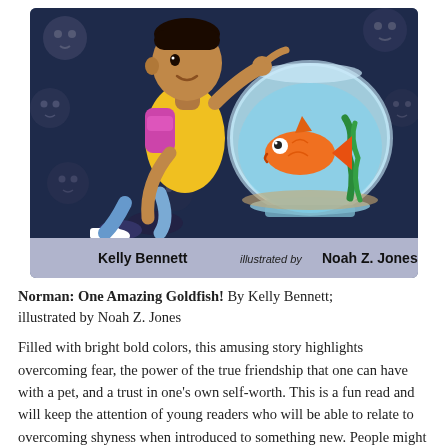[Figure (illustration): Book cover illustration for 'Norman: One Amazing Goldfish!' showing a child (cartoon style) kneeling and pointing at a goldfish in a round fishbowl, with faces watching in a dark background. Author credit reads 'Kelly Bennett illustrated by Noah Z. Jones' at the bottom of the cover on a lavender-gray band.]
Norman: One Amazing Goldfish! By Kelly Bennett; illustrated by Noah Z. Jones
Filled with bright bold colors, this amusing story highlights overcoming fear, the power of the true friendship that one can have with a pet, and a trust in one's own self-worth. This is a fun read and will keep the attention of young readers who will be able to relate to overcoming shyness when introduced to something new. People might try to